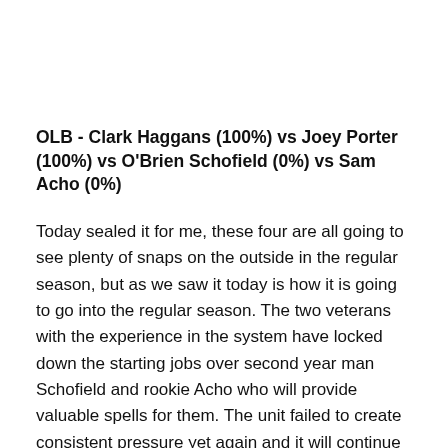OLB - Clark Haggans (100%) vs Joey Porter (100%) vs O'Brien Schofield (0%) vs Sam Acho (0%)
Today sealed it for me, these four are all going to see plenty of snaps on the outside in the regular season, but as we saw it today is how it is going to go into the regular season. The two veterans with the experience in the system have locked down the starting jobs over second year man Schofield and rookie Acho who will provide valuable spells for them. The unit failed to create consistent pressure yet again and it will continue to be an area of concern coming for the